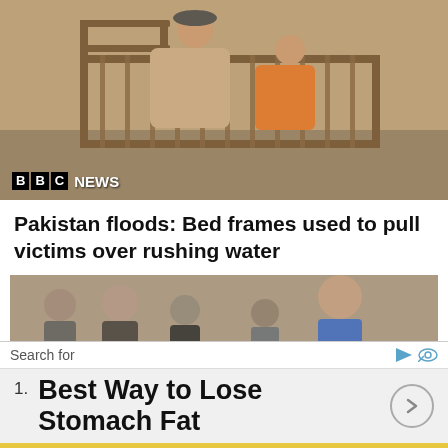[Figure (photo): BBC News video still showing two people sitting on a metal bed frame being pulled over rushing flood water. Sandy/dusty background. BBC NEWS logo overlay in bottom left.]
Pakistan floods: Bed frames used to pull victims over rushing water
[Figure (photo): A crowd of people in a dusty, smoky street scene with several men visible in the foreground.]
Search for
1. Best Way to Lose Stomach Fat